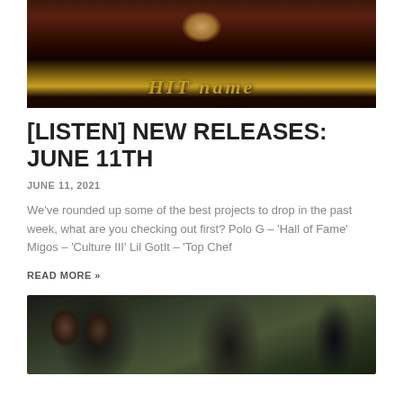[Figure (photo): A person standing at a podium or DJ setup with warm golden/red toned background and stylized gold script text at the bottom]
[LISTEN] NEW RELEASES: JUNE 11TH
JUNE 11, 2021
We've rounded up some of the best projects to drop in the past week, what are you checking out first? Polo G – 'Hall of Fame' Migos – 'Culture III' Lil GotIt – 'Top Chef
READ MORE »
[Figure (photo): Two men in streetwear outdoors, one wearing sunglasses and a bandana, the other wearing a blue beanie, trees in background]